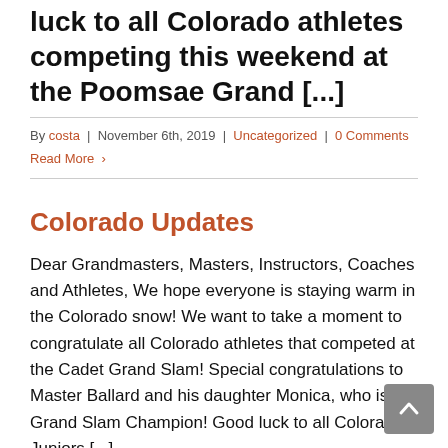luck to all Colorado athletes competing this weekend at the Poomsae Grand [...]
By costa | November 6th, 2019 | Uncategorized | 0 Comments
Read More >
Colorado Updates
Dear Grandmasters, Masters, Instructors, Coaches and Athletes, We hope everyone is staying warm in the Colorado snow! We want to take a moment to congratulate all Colorado athletes that competed at the Cadet Grand Slam! Special congratulations to Master Ballard and his daughter Monica, who is a Grand Slam Champion! Good luck to all Colorado Juniors [...]